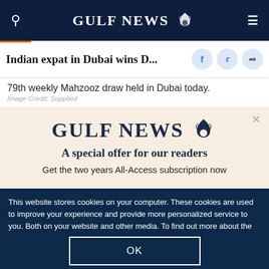GULF NEWS
Indian expat in Dubai wins D...
79th weekly Mahzooz draw held in Dubai today.
Image Credit: Supplied
[Figure (screenshot): Gulf News promotional modal overlay with logo, tagline 'A special offer for our readers', and text 'Get the two years All-Access subscription now']
This website stores cookies on your computer. These cookies are used to improve your experience and provide more personalized service to you. Both on your website and other media. To find out more about the cookies and data we use, please check out our Privacy Policy.
OK